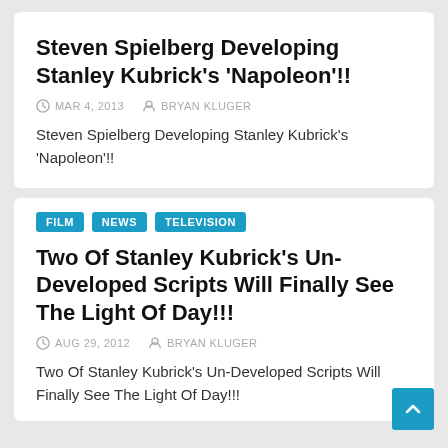Steven Spielberg Developing Stanley Kubrick's 'Napoleon'!!
MAR 4, 2013   BRYAN KLUGER
Steven Spielberg Developing Stanley Kubrick's 'Napoleon'!!
FILM
NEWS
TELEVISION
Two Of Stanley Kubrick's Un-Developed Scripts Will Finally See The Light Of Day!!!
AUG 29, 2012   BRYAN KLUGER
Two Of Stanley Kubrick's Un-Developed Scripts Will Finally See The Light Of Day!!!